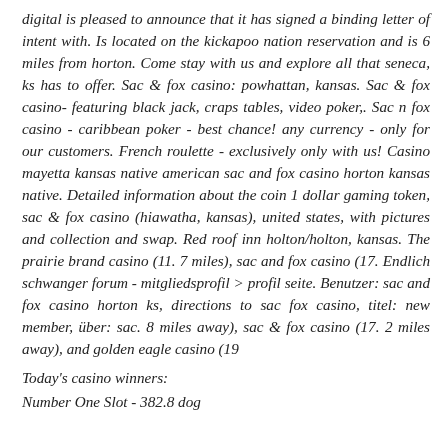digital is pleased to announce that it has signed a binding letter of intent with. Is located on the kickapoo nation reservation and is 6 miles from horton. Come stay with us and explore all that seneca, ks has to offer. Sac & fox casino: powhattan, kansas. Sac & fox casino- featuring black jack, craps tables, video poker,. Sac n fox casino - caribbean poker - best chance! any currency - only for our customers. French roulette - exclusively only with us! Casino mayetta kansas native american sac and fox casino horton kansas native. Detailed information about the coin 1 dollar gaming token, sac & fox casino (hiawatha, kansas), united states, with pictures and collection and swap. Red roof inn holton/holton, kansas. The prairie brand casino (11. 7 miles), sac and fox casino (17. Endlich schwanger forum - mitgliedsprofil > profil seite. Benutzer: sac and fox casino horton ks, directions to sac fox casino, titel: new member, über: sac. 8 miles away), sac & fox casino (17. 2 miles away), and golden eagle casino (19
Today's casino winners:
Number One Slot - 382.8 dog